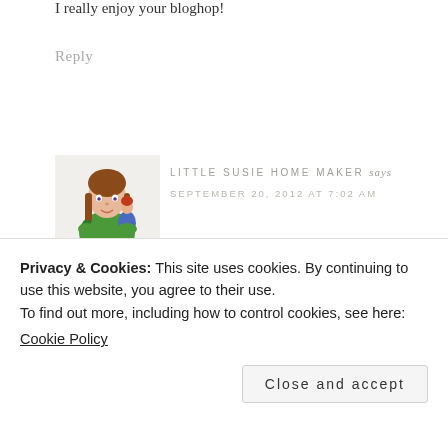I really enjoy your bloghop!
Reply
[Figure (illustration): Vintage illustration of a young girl with braids in a green dress holding a doll]
LITTLE SUSIE HOME MAKER says
SEPTEMBER 20, 2012 AT 7:02 AM
Looks like a great hop today! I am off to meet
Privacy & Cookies: This site uses cookies. By continuing to use this website, you agree to their use.
To find out more, including how to control cookies, see here:
Cookie Policy
Close and accept
Reply